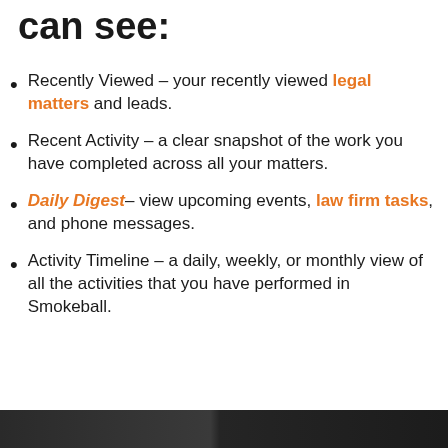can see:
Recently Viewed - your recently viewed legal matters and leads.
Recent Activity - a clear snapshot of the work you have completed across all your matters.
Daily Digest- view upcoming events, law firm tasks, and phone messages.
Activity Timeline - a daily, weekly, or monthly view of all the activities that you have performed in Smokeball.
[Figure (photo): Dark footer image with Smokeball logo partially visible]